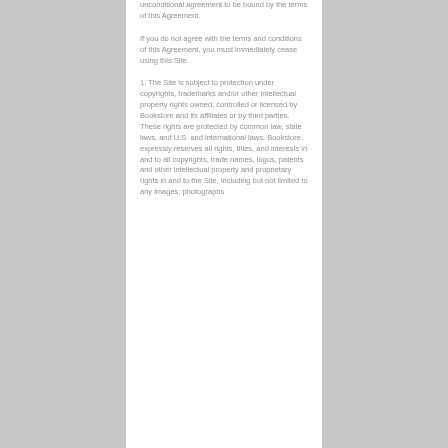unconditional agreement to be bound by the terms of this Agreement.
If you do not agree with the terms and conditions of this Agreement, you must immediately cease using this Site.
1. The Site is subject to protection under copyrights, trademarks and/or other intellectual property rights owned, controlled or licensed by Bookstore and its affiliates or by third parties. These rights are protected by common law, state laws, and U.S. and international laws. Bookstore expressly reserves all rights, titles, and interests in and to all copyrights, trade names, logos, patents and other intellectual property and proprietary rights in and to the Site, including but not limited to any images, photographs